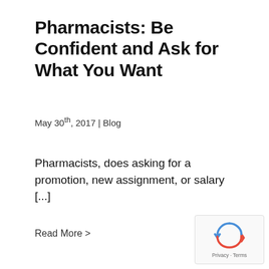Pharmacists: Be Confident and Ask for What You Want
May 30th, 2017 | Blog
Pharmacists, does asking for a promotion, new assignment, or salary [...]
Read More >